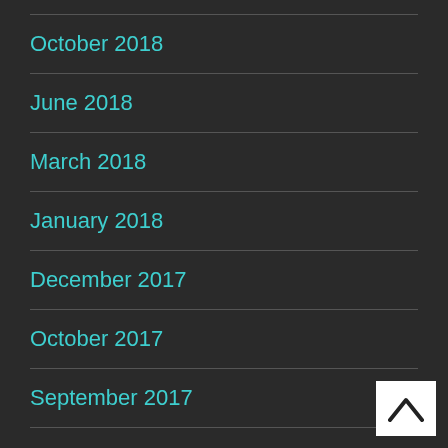October 2018
June 2018
March 2018
January 2018
December 2017
October 2017
September 2017
August 2017
[Figure (illustration): Back to top arrow button, white background with upward chevron icon]